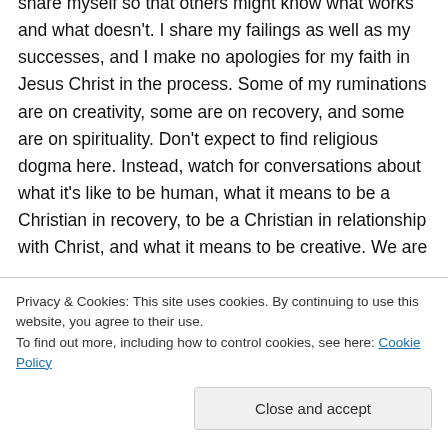share myself so that others might know what works and what doesn't. I share my failings as well as my successes, and I make no apologies for my faith in Jesus Christ in the process. Some of my ruminations are on creativity, some are on recovery, and some are on spirituality. Don't expect to find religious dogma here. Instead, watch for conversations about what it's like to be human, what it means to be a Christian in recovery, to be a Christian in relationship with Christ, and what it means to be creative. We are
Privacy & Cookies: This site uses cookies. By continuing to use this website, you agree to their use. To find out more, including how to control cookies, see here: Cookie Policy
Close and accept
back for more. I too will continue to follow your